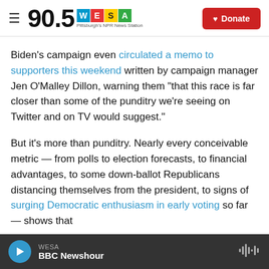90.5 WESA Pittsburgh's NPR News Station | Donate
Biden's campaign even circulated a memo to supporters this weekend written by campaign manager Jen O'Malley Dillon, warning them "that this race is far closer than some of the punditry we're seeing on Twitter and on TV would suggest."
But it's more than punditry. Nearly every conceivable metric — from polls to election forecasts, to financial advantages, to some down-ballot Republicans distancing themselves from the president, to signs of surging Democratic enthusiasm in early voting so far — shows that
WESA BBC Newshour